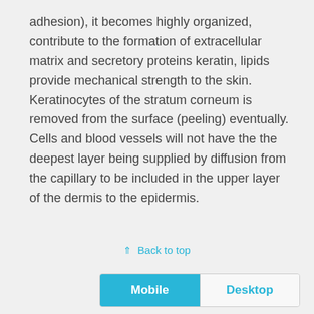adhesion), it becomes highly organized, contribute to the formation of extracellular matrix and secretory proteins keratin, lipids provide mechanical strength to the skin. Keratinocytes of the stratum corneum is removed from the surface (peeling) eventually. Cells and blood vessels will not have the the deepest layer being supplied by diffusion from the capillary to be included in the upper layer of the dermis to the epidermis.
⇑ Back to top
Mobile | Desktop